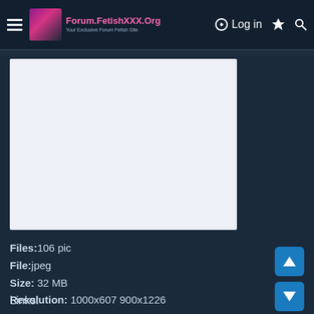Forum.FetishXXX.Org — Log in
[Figure (screenshot): White/light blue rectangular image preview placeholder area]
Files:106 pic
File:jpeg
Size: 32 MB
Resolution: 1000x607 900x1226
Links: